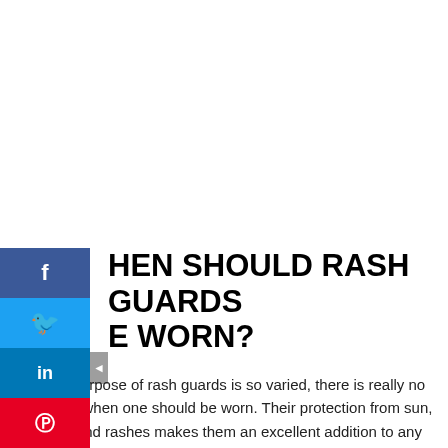[Figure (infographic): Social media sharing sidebar with Facebook, Twitter, LinkedIn, Pinterest, and Email buttons stacked vertically on the left side of the page]
WHEN SHOULD RASH GUARDS BE WORN?
Because the purpose of rash guards is so varied, there is really no limit to when one should be worn. Their protection from sun, sand, and rashes makes them an excellent addition to any beach day. Some activities that are especially great for wearing this protective layer are: